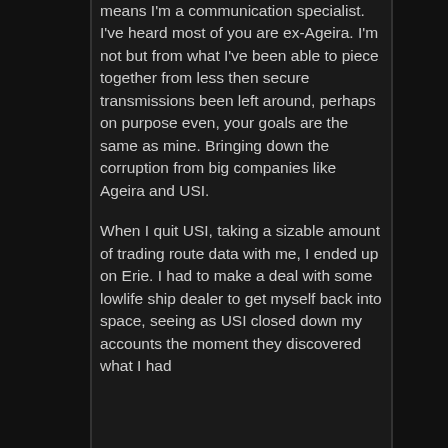means I'm a communication specialist. I've heard most of you are ex-Ageira. I'm not but from what I've been able to piece together from less then secure transmissions been left around, perhaps on purpose even, your goals are the same as mine. Bringing down the corruption from big companies like Ageira and USI.
When I quit USI, taking a sizable amount of trading route data with me, I ended up on Erie. I had to make a deal with some lowlife ship dealer to get myself back into space, seeing as USI closed down my accounts the moment they discovered what I had